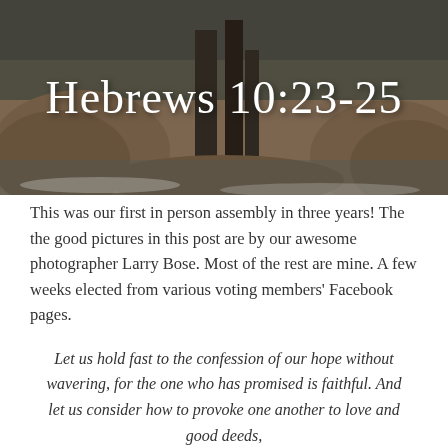[Figure (photo): Beach/sand scene with wooden posts or stumps, sandy mounds, with overlaid white text reading 'Hebrews 10:23-25']
Hebrews 10:23-25
This was our first in person assembly in three years! The the good pictures in this post are by our awesome photographer Larry Bose. Most of the rest are mine. A few weeks elected from various voting members' Facebook pages.
Let us hold fast to the confession of our hope without wavering, for the one who has promised is faithful. And let us consider how to provoke one another to love and good deeds, not neglecting to meet together, as is the habit of some, but encouraging one another, and all the more as you see the